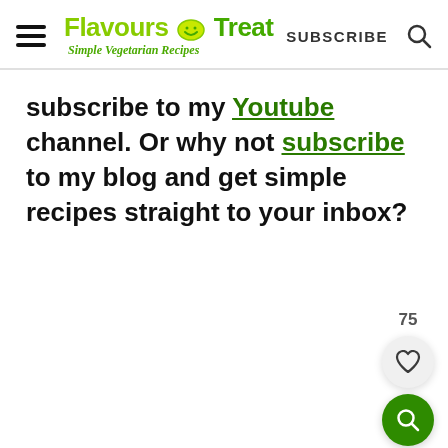Flavours Treat — Simple Vegetarian Recipes | SUBSCRIBE
subscribe to my Youtube channel. Or why not subscribe to my blog and get simple recipes straight to your inbox?